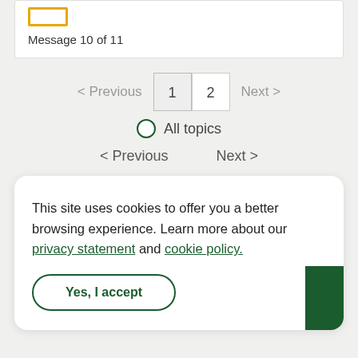Message 10 of 11
< Previous  1  2  Next >
O  All topics
< Previous   Next >
This site uses cookies to offer you a better browsing experience. Learn more about our privacy statement and cookie policy.
Yes, I accept